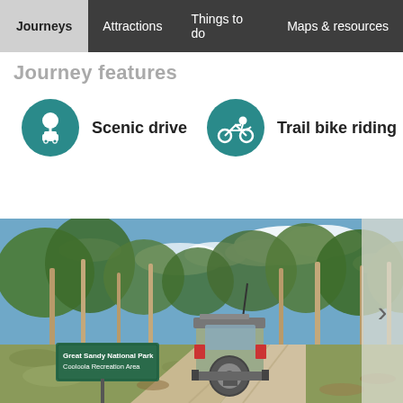Journeys | Attractions | Things to do | Maps & resources
Journey features
Scenic drive
Trail bike riding
[Figure (photo): 4WD vehicle on a dirt track entering Great Sandy National Park, Cooloola Recreation Area. Green sign visible on left. Eucalyptus trees surround the road under a partly cloudy blue sky.]